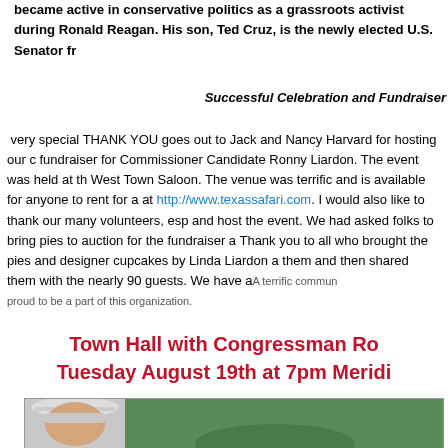became active in conservative politics as a grassroots activist during Ronald Reagan. His son, Ted Cruz, is the newly elected U.S. Senator fr
Successful Celebration and Fundraiser
very special THANK YOU goes out to Jack and Nancy Harvard for hosting our c fundraiser for Commissioner Candidate Ronny Liardon. The event was held at th West Town Saloon. The venue was terrific and is available for anyone to rent for a at http://www.texassafari.com. I would also like to thank our many volunteers, esp and host the event. We had asked folks to bring pies to auction for the fundraiser a Thank you to all who brought the pies and designer cupcakes by Linda Liardon a them and then shared them with the nearly 90 guests. We have aA terrific commun proud to be a part of this organization.
Town Hall with Congressman Ro Tuesday August 19th at 7pm Meridi
[Figure (photo): Photo of a person wearing a white cap outdoors with greenery in the background]